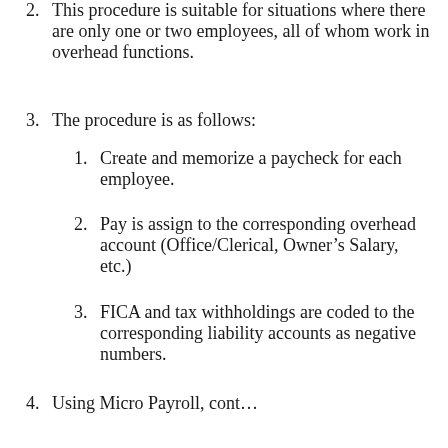2. This procedure is suitable for situations where there are only one or two employees, all of whom work in overhead functions.
3. The procedure is as follows:
1. Create and memorize a paycheck for each employee.
2. Pay is assign to the corresponding overhead account (Office/Clerical, Owner’s Salary, etc.)
3. FICA and tax withholdings are coded to the corresponding liability accounts as negative numbers.
4. Using Micro Payroll, cont…
4. Memorize the check, and use it each pay period to pay the employee.
5. You may change the memorized amounts as needs may require (short payweek, change in pay rate, etc.)